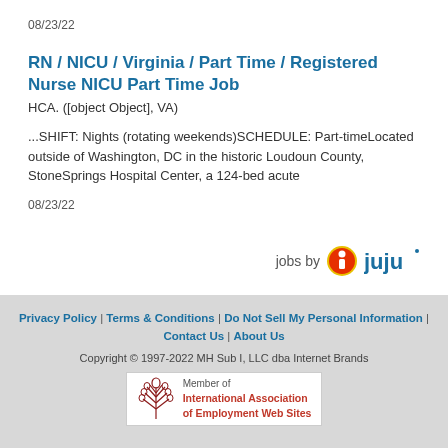08/23/22
RN / NICU / Virginia / Part Time / Registered Nurse NICU Part Time Job
HCA. ([object Object], VA)
...SHIFT: Nights (rotating weekends)SCHEDULE: Part-timeLocated outside of Washington, DC in the historic Loudoun County, StoneSprings Hospital Center, a 124-bed acute
08/23/22
[Figure (logo): jobs by juju logo with orange/red circular icon and juju wordmark in blue]
Privacy Policy | Terms & Conditions | Do Not Sell My Personal Information | Contact Us | About Us
Copyright © 1997-2022 MH Sub I, LLC dba Internet Brands
Member of International Association of Employment Web Sites